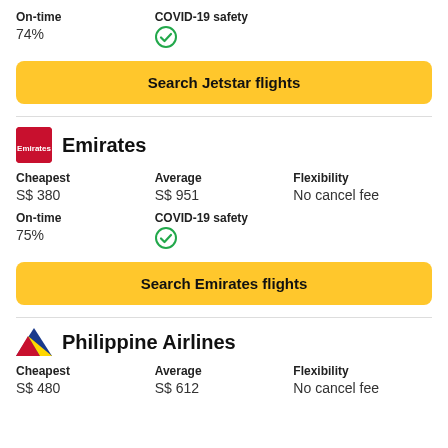On-time
74%
COVID-19 safety
✓
Search Jetstar flights
Emirates
Cheapest
S$ 380
Average
S$ 951
Flexibility
No cancel fee
On-time
75%
COVID-19 safety
✓
Search Emirates flights
Philippine Airlines
Cheapest
S$ 480
Average
S$ 612
Flexibility
No cancel fee